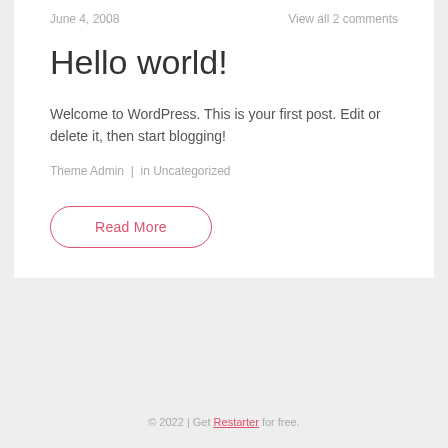June 4, 2008   View all 2 comments
Hello world!
Welcome to WordPress. This is your first post. Edit or delete it, then start blogging!
Theme Admin  |  in Uncategorized
Read More
© 2022 | Get Restarter for free.